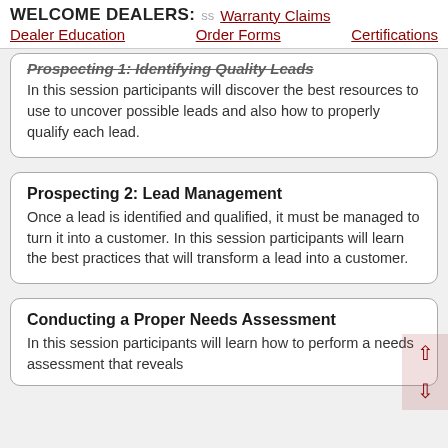WELCOME DEALERS: | Warranty Claims | Dealer Education | Order Forms | Certifications
Prospecting 1: Identifying Quality Leads
In this session participants will discover the best resources to use to uncover possible leads and also how to properly qualify each lead.
Prospecting 2: Lead Management
Once a lead is identified and qualified, it must be managed to turn it into a customer. In this session participants will learn the best practices that will transform a lead into a customer.
Conducting a Proper Needs Assessment
In this session participants will learn how to perform a needs assessment that reveals